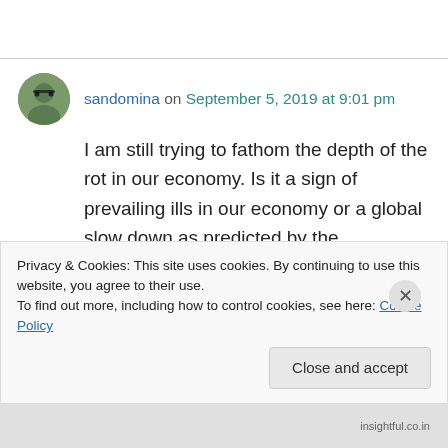sandomina on September 5, 2019 at 9:01 pm
I am still trying to fathom the depth of the rot in our economy. Is it a sign of prevailing ills in our economy or a global slow down as predicted by the doomsday economists?
insightful.co.in
Privacy & Cookies: This site uses cookies. By continuing to use this website, you agree to their use.
To find out more, including how to control cookies, see here: Cookie Policy
Close and accept